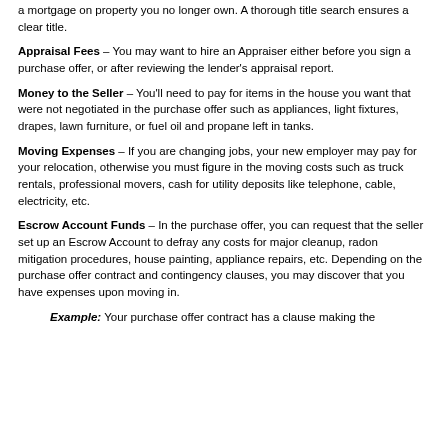a mortgage on property you no longer own. A thorough title search ensures a clear title.
Appraisal Fees – You may want to hire an Appraiser either before you sign a purchase offer, or after reviewing the lender's appraisal report.
Money to the Seller – You'll need to pay for items in the house you want that were not negotiated in the purchase offer such as appliances, light fixtures, drapes, lawn furniture, or fuel oil and propane left in tanks.
Moving Expenses – If you are changing jobs, your new employer may pay for your relocation, otherwise you must figure in the moving costs such as truck rentals, professional movers, cash for utility deposits like telephone, cable, electricity, etc.
Escrow Account Funds – In the purchase offer, you can request that the seller set up an Escrow Account to defray any costs for major cleanup, radon mitigation procedures, house painting, appliance repairs, etc. Depending on the purchase offer contract and contingency clauses, you may discover that you have expenses upon moving in.
Example: Your purchase offer contract has a clause making the